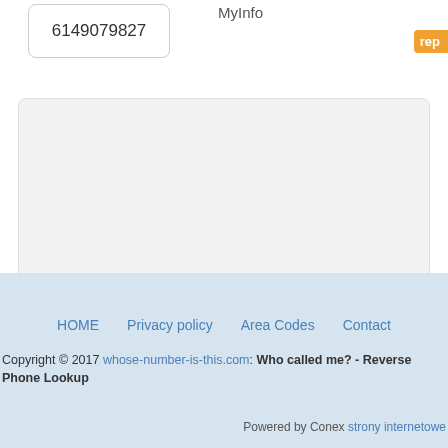6149079827
MyInfo
rep
[Figure (other): Gray rounded rectangle placeholder/advertisement area]
HOME   Privacy policy   Area Codes   Contact
Copyright © 2017 whose-number-is-this.com: Who called me? - Reverse Phone Lookup
Powered by Conex strony internetowe